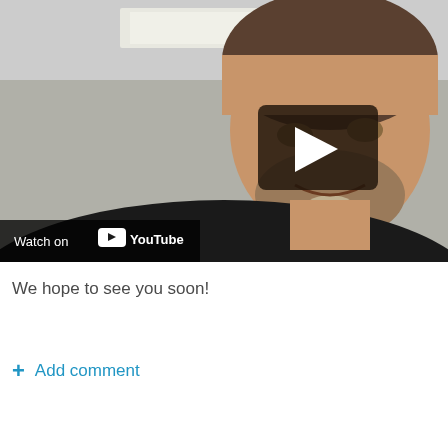[Figure (screenshot): YouTube video thumbnail showing a man in a black shirt in an office/room setting, with a play button overlay in the center-right area and a 'Watch on YouTube' bar at the bottom-left]
We hope to see you soon!
+ Add comment